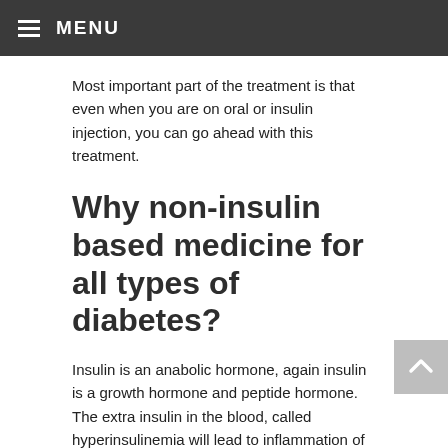MENU
Most important part of the treatment is that even when you are on oral or insulin injection, you can go ahead with this treatment.
Why non-insulin based medicine for all types of diabetes?
Insulin is an anabolic hormone, again insulin is a growth hormone and peptide hormone. The extra insulin in the blood, called hyperinsulinemia will lead to inflammation of the internal organs. So if you are taking non-insulin based medicine this medicine won't give any inflammation to the internal organs. As a result, the entire internal organs will